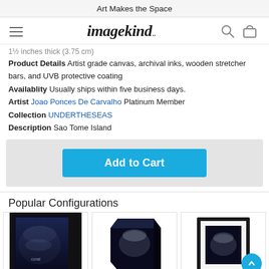Art Makes the Space
[Figure (logo): Imagekind logo with hamburger menu, search icon, and cart icon in navigation bar]
1½ inches thick (3.75 cm)
Product Details Artist grade canvas, archival inks, wooden stretcher bars, and UVB protective coating
Availablity Usually ships within five business days.
Artist Joao Ponces De Carvalho Platinum Member
Collection UNDERTHESEAS
Description Sao Tome Island
[Figure (screenshot): Add to Cart button (blue) inside a light gray box]
Popular Configurations
[Figure (photo): Three product configuration thumbnails: open edition print, canvas wrap, and framed print of underwater coral/sea scene]